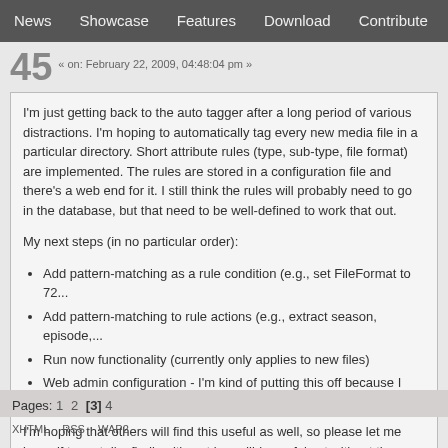News | Showcase | Features | Download | Contribute | Support
45  « on: February 22, 2009, 04:48:04 pm »
I'm just getting back to the auto tagger after a long period of various distractions. I'm hoping to automatically tag every new media file in a particular directory. Short attribute rules (type, sub-type, file format) are implemented. The rules are stored in a configuration file and there's a web end for it. I still think the rules will probably need to go in the database, but that need to be well-defined to work that out.
My next steps (in no particular order):
Add pattern-matching as a rule condition (e.g., set FileFormat to 72...
Add pattern-matching to rule actions (e.g., extract season, episode,...
Run now functionality (currently only applies to new files)
Web admin configuration - I'm kind of putting this off because I have...
I'm hoping that others will find this useful as well, so please let me know if t... out. I'm finding it's not incredibly useful yet without the pattern matching (I'... my prod environment right now), but once that and 'run rules now' are in pla...
Pages: 1 2 [3] 4
XHTML  RSS  WAP2